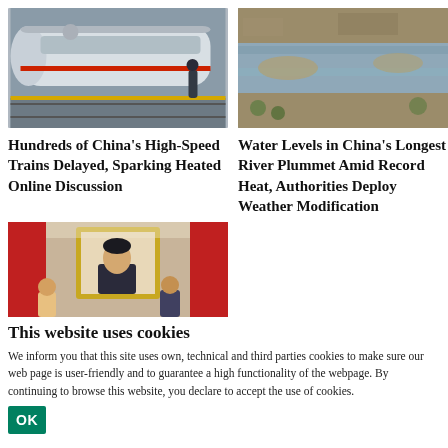[Figure (photo): High-speed train at a platform, silver and white, with a person standing nearby]
[Figure (photo): Aerial view of a wide river with low water levels and surrounding land]
Hundreds of China’s High-Speed Trains Delayed, Sparking Heated Online Discussion
Water Levels in China’s Longest River Plummet Amid Record Heat, Authorities Deploy Weather Modification
[Figure (photo): Portrait painting of a historical figure in a golden frame, displayed on a red-accented wall, with people visible below]
This website uses cookies
We inform you that this site uses own, technical and third parties cookies to make sure our web page is user-friendly and to guarantee a high functionality of the webpage. By continuing to browse this website, you declare to accept the use of cookies.